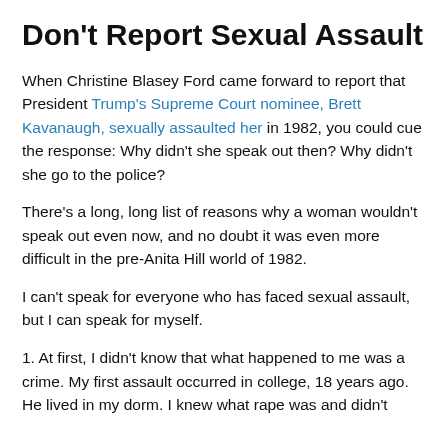Don't Report Sexual Assault
When Christine Blasey Ford came forward to report that President Trump's Supreme Court nominee, Brett Kavanaugh, sexually assaulted her in 1982, you could cue the response: Why didn't she speak out then? Why didn't she go to the police?
There's a long, long list of reasons why a woman wouldn't speak out even now, and no doubt it was even more difficult in the pre-Anita Hill world of 1982.
I can't speak for everyone who has faced sexual assault, but I can speak for myself.
1. At first, I didn't know that what happened to me was a crime. My first assault occurred in college, 18 years ago. He lived in my dorm. I knew what rape was and didn't...